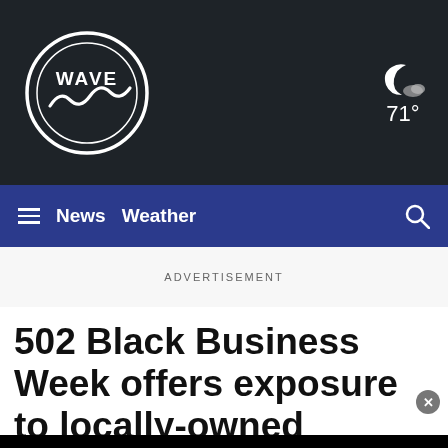WAVE — 71°
News  Weather
ADVERTISEMENT
502 Black Business Week offers exposure to locally-owned businesses